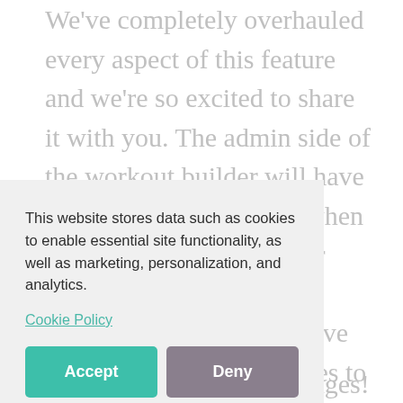We've completely overhauled every aspect of this feature and we're so excited to share it with you. The admin side of the workout builder will have a wide range of options when entering programming for workouts and classes. Moreover, admins will have more advanced capabilities to
This website stores data such as cookies to enable essential site functionality, as well as marketing, personalization, and analytics.
Cookie Policy
Accept
Deny
results and sending messages!